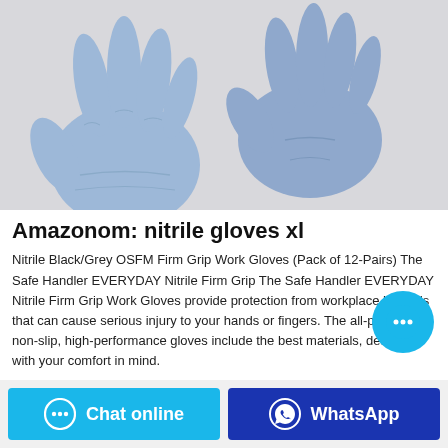[Figure (photo): Two blue/periwinkle nitrile gloves overlapping against a light grey background, showing front and back of hand.]
Amazonom: nitrile gloves xl
Nitrile Black/Grey OSFM Firm Grip Work Gloves (Pack of 12-Pairs) The Safe Handler EVERYDAY Nitrile Firm Grip The Safe Handler EVERYDAY Nitrile Firm Grip Work Gloves provide protection from workplace hazards that can cause serious injury to your hands or fingers. The all-purpose, non-slip, high-performance gloves include the best materials, designed with your comfort in mind.